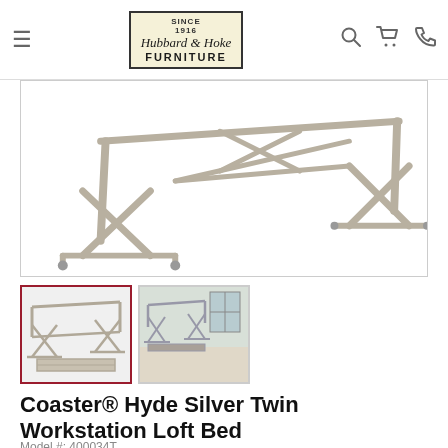Hubbard & Hoke Furniture — navigation header with logo, search, cart, and phone icons
[Figure (photo): Close-up product photo of a silver metal loft bed frame structure showing the lower support beams and X-cross brace legs on a white background]
[Figure (photo): Thumbnail 1 (active/selected): Full view of the Coaster Hyde Silver Twin Workstation Loft Bed on white background]
[Figure (photo): Thumbnail 2: Lifestyle photo of the Coaster Hyde Silver Twin Workstation Loft Bed in a bedroom setting]
Coaster® Hyde Silver Twin Workstation Loft Bed
Model #: 400034T
★★★★★ (0)